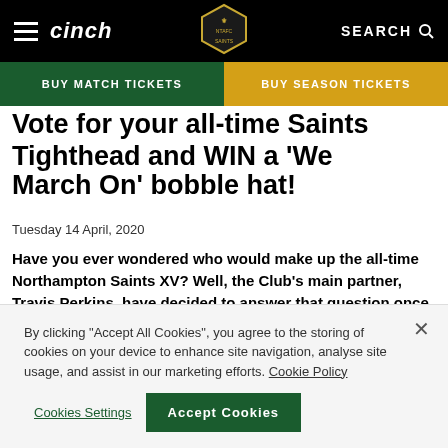cinch | Northampton Saints | SEARCH
Vote for your all-time Saints Tighthead and WIN a ‘We March On’ bobble hat!
Tuesday 14 April, 2020
Have you ever wondered who would make up the all-time Northampton Saints XV? Well, the Club’s main partner, Travis Perkins, have decided to answer that question once and for all!
By clicking “Accept All Cookies”, you agree to the storing of cookies on your device to enhance site navigation, analyse site usage, and assist in our marketing efforts. Cookie Policy
Cookies Settings | Accept Cookies